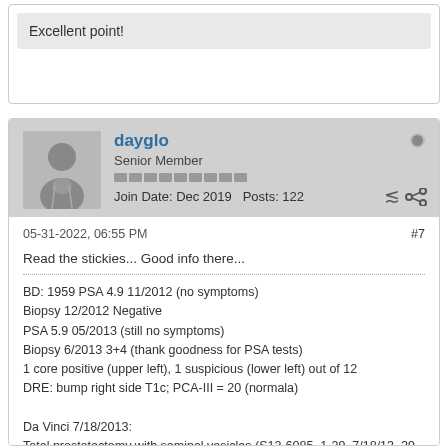Excellent point!
dayglo
Senior Member
Join Date: Dec 2019  Posts: 122
05-31-2022, 06:55 PM  #7
Read the stickies... Good info there...
BD: 1959 PSA 4.9 11/2012 (no symptoms)
Biopsy 12/2012 Negative
PSA 5.9 05/2013 (still no symptoms)
Biopsy 6/2013 3+4 (thank goodness for PSA tests)
1 core positive (upper left), 1 suspicious (lower left) out of 12
DRE: bump right side T1c; PCA-III = 20 (normala)

Da Vinci 7/18/2013:
Total prostatectomy with seminal vesicles (S13-6085, 1-29, 7/18/13, 29 H&E and 1 paraffin block)
Invasive carcinoma involves left lobe of prostate only, extends from left apex to posterior mid region of left lobe Gleason 7/10 (4+3); G4 tumor comprising 75% of invasive carcinoma component